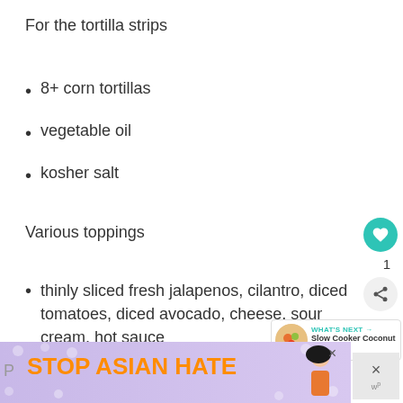For the tortilla strips
8+ corn tortillas
vegetable oil
kosher salt
Various toppings
thinly sliced fresh jalapenos, cilantro, diced tomatoes, diced avocado, cheese, sour cream, hot sauce